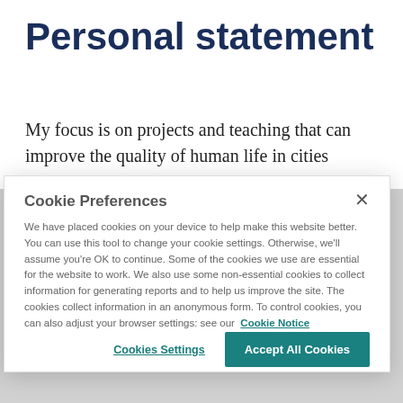Personal statement
My focus is on projects and teaching that can improve the quality of human life in cities across the world.  I enjoy delivering research and consultancy that delivers tangible
Cookie Preferences
We have placed cookies on your device to help make this website better. You can use this tool to change your cookie settings. Otherwise, we'll assume you're OK to continue. Some of the cookies we use are essential for the website to work. We also use some non-essential cookies to collect information for generating reports and to help us improve the site. The cookies collect information in an anonymous form. To control cookies, you can also adjust your browser settings: see our  Cookie Notice
Cookies Settings
Accept All Cookies